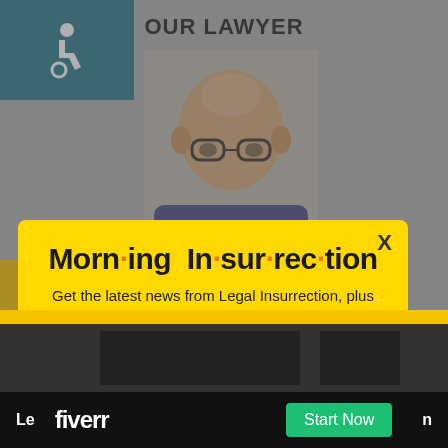OUR LAWYER
[Figure (photo): Photo of older bald man with glasses, partial view behind modal overlay]
[Figure (logo): Wheelchair accessibility icon in white on teal background]
Morn·ing In·sur·rec·tion
Get the latest news from Legal Insurrection, plus exclusive content, direct to your inbox every morning. Subscribe today – it's free!
JOIN NOW
[Figure (screenshot): Bottom bar with X close button and fiverr advertisement with Start Now button]